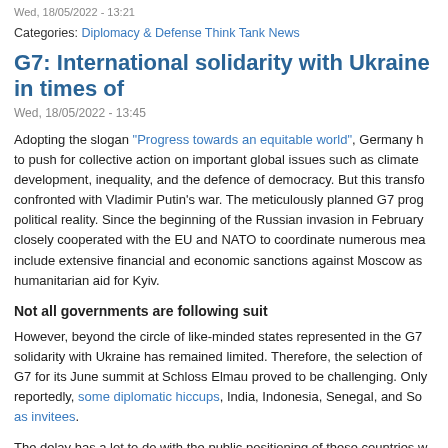Wed, 18/05/2022 - 13:21
Categories: Diplomacy & Defense Think Tank News
G7: International solidarity with Ukraine in times of
Wed, 18/05/2022 - 13:45
Adopting the slogan "Progress towards an equitable world", Germany h to push for collective action on important global issues such as climate development, inequality, and the defence of democracy. But this transfo confronted with Vladimir Putin's war. The meticulously planned G7 prog political reality. Since the beginning of the Russian invasion in February closely cooperated with the EU and NATO to coordinate numerous mea include extensive financial and economic sanctions against Moscow as humanitarian aid for Kyiv.
Not all governments are following suit
However, beyond the circle of like-minded states represented in the G7 solidarity with Ukraine has remained limited. Therefore, the selection of G7 for its June summit at Schloss Elmau proved to be challenging. Only reportedly, some diplomatic hiccups, India, Indonesia, Senegal, and So as invitees.
The delay has a lot to do with the public positioning of these countries w